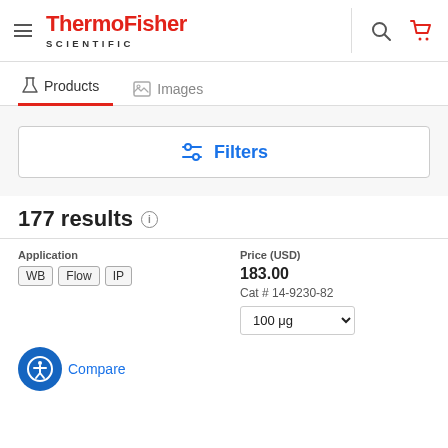[Figure (logo): ThermoFisher Scientific logo in red and dark gray]
ThermoFisher SCIENTIFIC
Products  Images
Filters
177 results
| Application | Price (USD) |
| --- | --- |
| WB  Flow  IP | 183.00
Cat # 14-9230-82
100 μg |
Compare